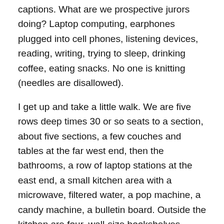captions. What are we prospective jurors doing? Laptop computing, earphones plugged into cell phones, listening devices, reading, writing, trying to sleep, drinking coffee, eating snacks. No one is knitting (needles are disallowed).
I get up and take a little walk. We are five rows deep times 30 or so seats to a section, about five sections, a few couches and tables at the far west end, then the bathrooms, a row of laptop stations at the east end, a small kitchen area with a microwave, filtered water, a pop machine, a candy machine, a bulletin board. Outside the kitchen are four, wall-size bookshelves courtesy the County Library.
I reach in my bag and pull out Yu Xiang's book of poems titled “I Can Almost See the Clouds of Dust” (Zephyr Press, 2013, 151 pages). There are ten sections, 44 poems, most confined to one page, with several longer poems, five notes, with an introduction by the translator, Fiona Sze-